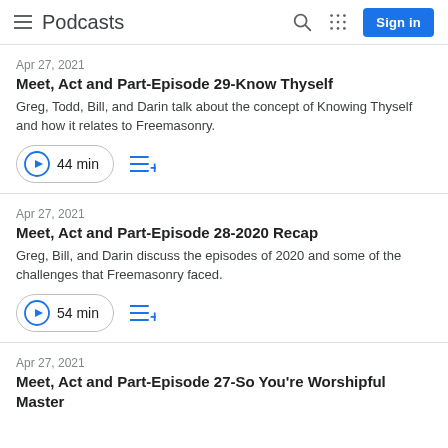Podcasts
Apr 27, 2021
Meet, Act and Part-Episode 29-Know Thyself
Greg, Todd, Bill, and Darin talk about the concept of Knowing Thyself and how it relates to Freemasonry.
44 min
Apr 27, 2021
Meet, Act and Part-Episode 28-2020 Recap
Greg, Bill, and Darin discuss the episodes of 2020 and some of the challenges that Freemasonry faced.
54 min
Apr 27, 2021
Meet, Act and Part-Episode 27-So You're Worshipful Master